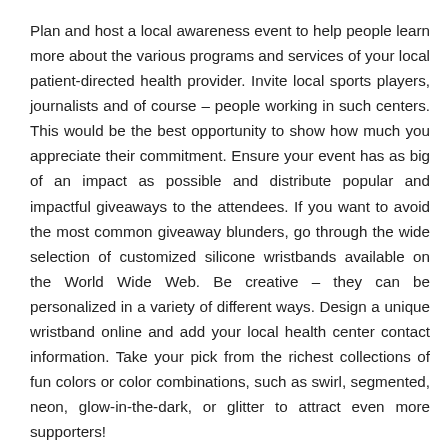Plan and host a local awareness event to help people learn more about the various programs and services of your local patient-directed health provider. Invite local sports players, journalists and of course – people working in such centers. This would be the best opportunity to show how much you appreciate their commitment. Ensure your event has as big of an impact as possible and distribute popular and impactful giveaways to the attendees. If you want to avoid the most common giveaway blunders, go through the wide selection of customized silicone wristbands available on the World Wide Web. Be creative – they can be personalized in a variety of different ways. Design a unique wristband online and add your local health center contact information. Take your pick from the richest collections of fun colors or color combinations, such as swirl, segmented, neon, glow-in-the-dark, or glitter to attract even more supporters!